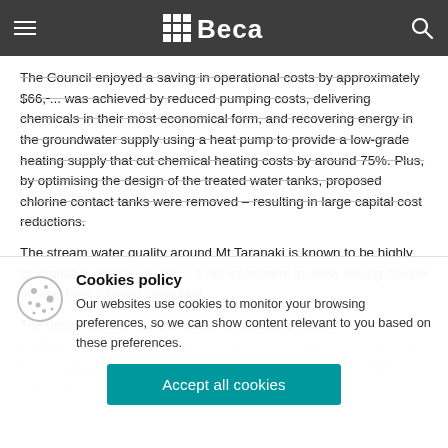Beca navigation bar
The Council enjoyed a saving in operational costs by approximately $66,... was achieved by reduced pumping costs, delivering chemicals in their most economical form, and recovering energy in the groundwater supply using a heat pump to provide a low-grade heating supply that cut chemical heating costs by around 75%. Plus, by optimising the design of the treated water tanks, proposed chlorine contact tanks were removed – resulting in large capital cost reductions.
The stream water quality around Mt Taranaki is known to be highly changeable, so we used a S::CAN instrument to allow dosing control around feed-forward coagulant.
The design is also future-proofed. It includes provision for the future installation of a wastewater recovery system...a future 50% capacity expansion...bank...council's plant...months ahead of schedule, and 20% under the initial cost estimate.
Cookies policy
Our websites use cookies to monitor your browsing preferences, so we can show content relevant to you based on these preferences.
Accept all cookies